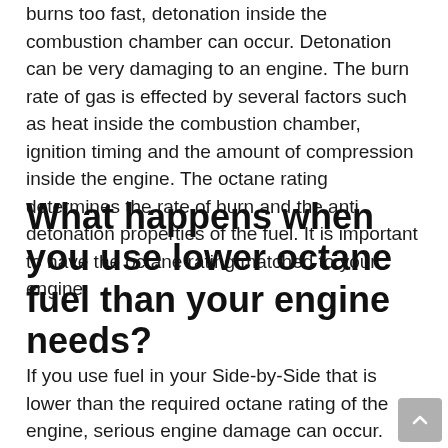burns too fast, detonation inside the combustion chamber can occur. Detonation can be very damaging to an engine. The burn rate of gas is effected by several factors such as heat inside the combustion chamber, ignition timing and the amount of compression inside the engine. The octane rating determines the rate of burn and the anti detonation properties of the fuel. It is important to have the octane rating matched to your engine.
What happens when you use lower octane fuel than your engine needs?
If you use fuel in your Side-by-Side that is lower than the required octane rating of the engine, serious engine damage can occur. Using a low